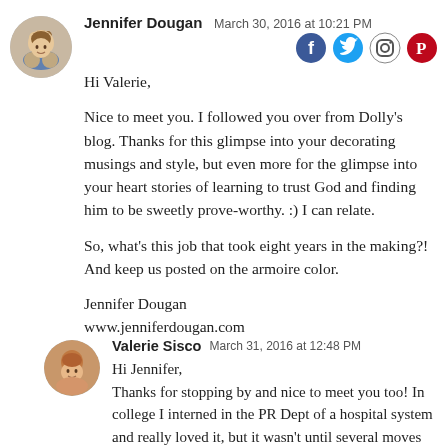[Figure (photo): Round avatar photo of Jennifer Dougan, a woman with short dark hair]
Jennifer Dougan  March 30, 2016 at 10:21 PM
[Figure (logo): Social media icons: Facebook, Twitter, Instagram, Pinterest]
Hi Valerie,

Nice to meet you. I followed you over from Dolly's blog. Thanks for this glimpse into your decorating musings and style, but even more for the glimpse into your heart stories of learning to trust God and finding him to be sweetly prove-worthy. :) I can relate.

So, what's this job that took eight years in the making?! And keep us posted on the armoire color.

Jennifer Dougan
www.jenniferdougan.com
[Figure (photo): Round avatar photo of Valerie Sisco, a woman with reddish hair]
Valerie Sisco  March 31, 2016 at 12:48 PM
Hi Jennifer,
Thanks for stopping by and nice to meet you too! In college I interned in the PR Dept of a hospital system and really loved it, but it wasn't until several moves and several jobs later